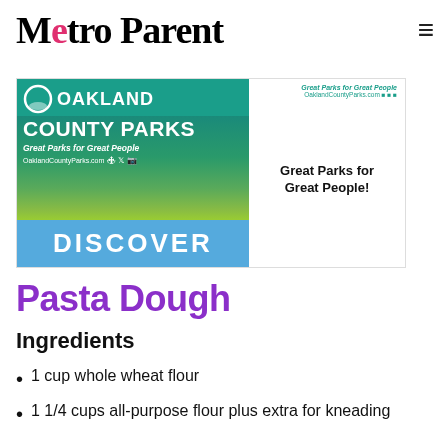Metro Parent
[Figure (illustration): Oakland County Parks advertisement showing logo, tagline 'Great Parks for Great People', OaklandCountyParks.com, and DISCOVER banner in teal/blue/green colors]
Pasta Dough
Ingredients
1 cup whole wheat flour
1 1/4 cups all-purpose flour plus extra for kneading